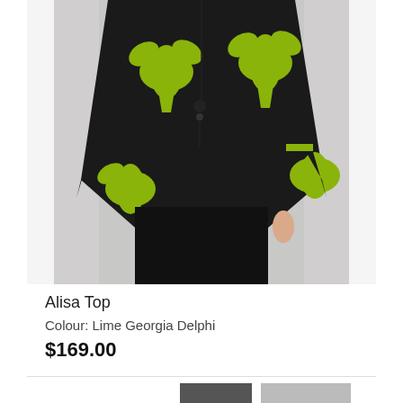[Figure (photo): A model wearing a black and lime green/yellow floral patterned cape-style top over a black outfit, with a long black beaded necklace. The background is light grey.]
Alisa Top
Colour: Lime Georgia Delphi
$169.00